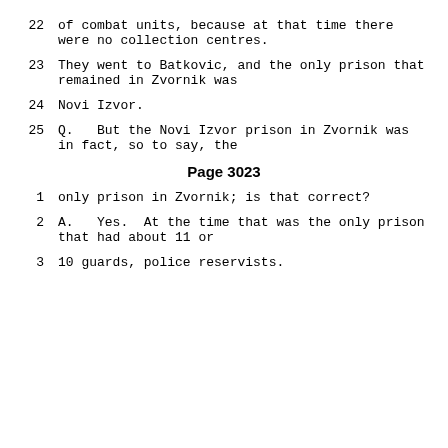22    of combat units, because at that time there were no collection centres.
23    They went to Batkovic, and the only prison that remained in Zvornik was
24    Novi Izvor.
25    Q.    But the Novi Izvor prison in Zvornik was in fact, so to say, the
Page 3023
1     only prison in Zvornik; is that correct?
2     A.    Yes.  At the time that was the only prison that had about 11 or
3     10 guards, police reservists.